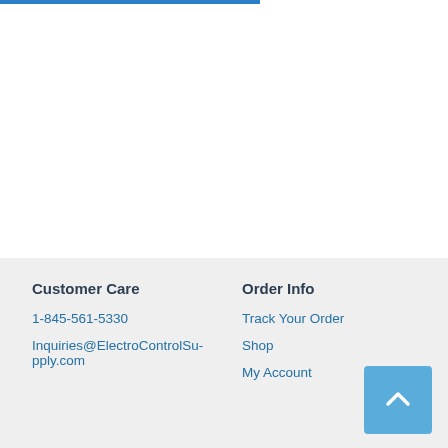Customer Care
1-845-561-5330
Inquiries@ElectroControlSupply.com
Order Info
Track Your Order
Shop
My Account